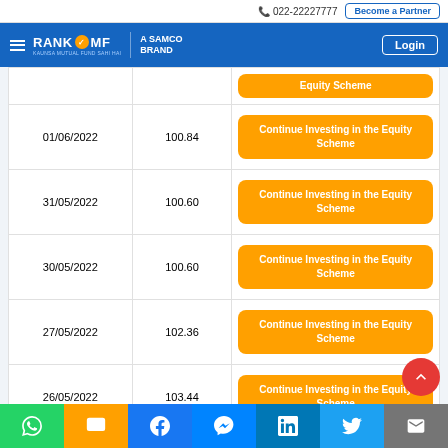📞 022-22227777  Become a Partner
RANK MF A SAMCO BRAND  Login
| Date | NAV | Recommendation |
| --- | --- | --- |
|  |  | Equity Scheme |
| 01/06/2022 | 100.84 | Continue Investing in the Equity Scheme |
| 31/05/2022 | 100.60 | Continue Investing in the Equity Scheme |
| 30/05/2022 | 100.60 | Continue Investing in the Equity Scheme |
| 27/05/2022 | 102.36 | Continue Investing in the Equity Scheme |
| 26/05/2022 | 103.44 | Continue Investing in the Equity Scheme |
WhatsApp | SMS | Facebook | Messenger | LinkedIn | Twitter | Email